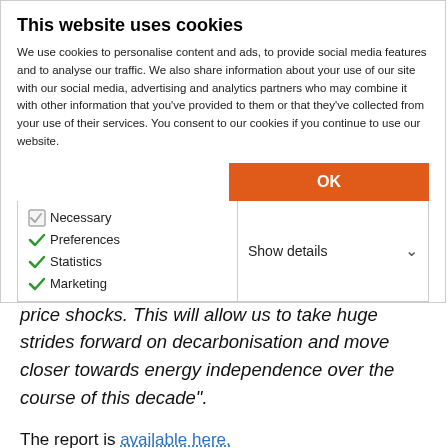This website uses cookies
We use cookies to personalise content and ads, to provide social media features and to analyse our traffic. We also share information about your use of our site with our social media, advertising and analytics partners who may combine it with other information that you’ve provided to them or that they’ve collected from your use of their services. You consent to our cookies if you continue to use our website.
OK
Necessary  Preferences  Statistics  Marketing  Show details
renewables is set to become cheaper than using fossil fuels which are prone to volatility and global price shocks. This will allow us to take huge strides forward on decarbonisation and move closer towards energy independence over the course of this decade”.
The report is available here.